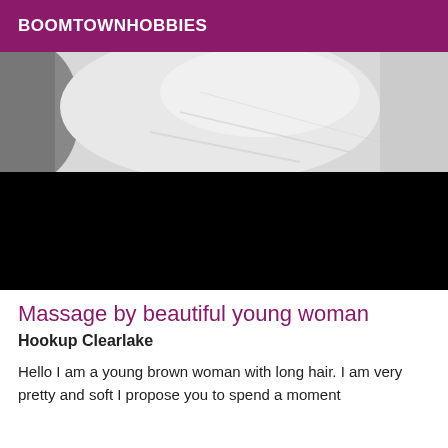BOOMTOWNHOBBIES
[Figure (photo): Close-up grayscale photo of clothing/fabric (top portion) and a black rectangle (bottom portion), forming a composite image block]
Massage by beautiful young woman
Hookup Clearlake
Hello I am a young brown woman with long hair. I am very pretty and soft I propose you to spend a moment